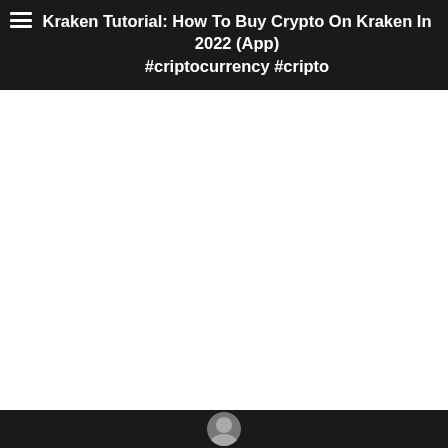Kraken Tutorial: How To Buy Crypto On Kraken In 2022 (App) #criptocurrency #cripto
[Figure (screenshot): White blank area representing a video player or content area below the header]